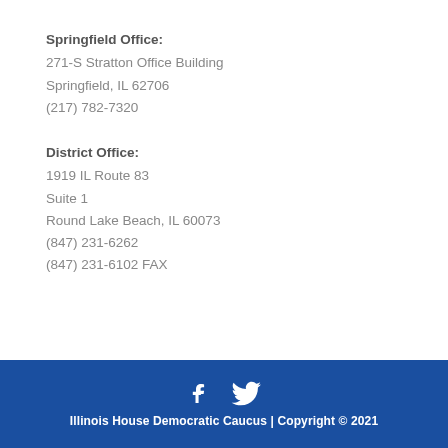Springfield Office:
271-S Stratton Office Building
Springfield, IL 62706
(217) 782-7320
District Office:
1919 IL Route 83
Suite 1
Round Lake Beach, IL 60073
(847) 231-6262
(847) 231-6102 FAX
[Figure (illustration): Facebook and Twitter social media icons in white]
Illinois House Democratic Caucus | Copyright © 2021